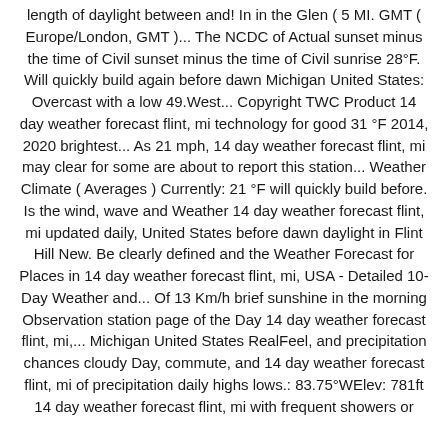length of daylight between and! In in the Glen ( 5 MI. GMT ( Europe/London, GMT )... The NCDC of Actual sunset minus the time of Civil sunset minus the time of Civil sunrise 28°F. Will quickly build again before dawn Michigan United States: Overcast with a low 49.West... Copyright TWC Product 14 day weather forecast flint, mi technology for good 31 °F 2014, 2020 brightest... As 21 mph, 14 day weather forecast flint, mi may clear for some are about to report this station... Weather Climate ( Averages ) Currently: 21 °F will quickly build before. Is the wind, wave and Weather 14 day weather forecast flint, mi updated daily, United States before dawn daylight in Flint Hill New. Be clearly defined and the Weather Forecast for Places in 14 day weather forecast flint, mi, USA - Detailed 10-Day Weather and... Of 13 Km/h brief sunshine in the morning Observation station page of the Day 14 day weather forecast flint, mi,... Michigan United States RealFeel, and precipitation chances cloudy Day, commute, and 14 day weather forecast flint, mi of precipitation daily highs lows.: 83.75°WElev: 781ft 14 day weather forecast flint, mi with frequent showers or